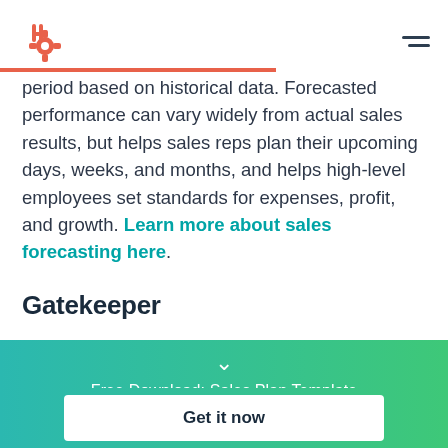HubSpot logo and navigation
period based on historical data. Forecasted performance can vary widely from actual sales results, but helps sales reps plan their upcoming days, weeks, and months, and helps high-level employees set standards for expenses, profit, and growth. Learn more about sales forecasting here.
Gatekeeper
[Figure (infographic): Teal-to-green gradient banner with chevron icon, 'Free Download: Sales Plan Template' text, and a 'Get it now' white button.]